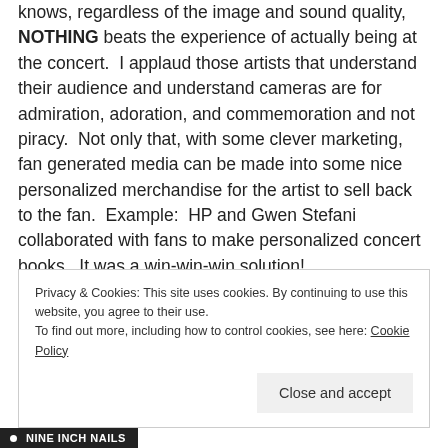knows, regardless of the image and sound quality, NOTHING beats the experience of actually being at the concert.  I applaud those artists that understand their audience and understand cameras are for admiration, adoration, and commemoration and not piracy.  Not only that, with some clever marketing, fan generated media can be made into some nice personalized merchandise for the artist to sell back to the fan.  Example:  HP and Gwen Stefani collaborated with fans to make personalized concert books.  It was a win-win-win solution!
Privacy & Cookies: This site uses cookies. By continuing to use this website, you agree to their use.
To find out more, including how to control cookies, see here: Cookie Policy